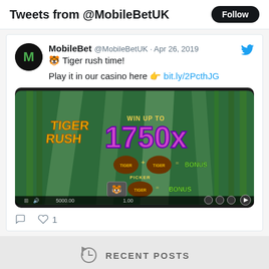Tweets from @MobileBetUK
MobileBet @MobileBetUK · Apr 26, 2019
🐯 Tiger rush time!

Play it in our casino here 👉 bit.ly/2PcthJG
[Figure (screenshot): Tiger Rush casino slot game screenshot showing 'WIN UP TO 1750x' with bonus symbols on a bamboo forest background]
♡  ♡ 1
RECENT POSTS